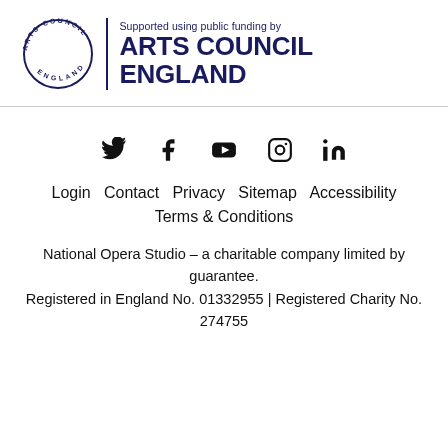[Figure (logo): Arts Council England logo — circular text 'ARTS COUNCIL ENGLAND' with vertical divider and 'Supported using public funding by ARTS COUNCIL ENGLAND' text]
[Figure (infographic): Social media icons row: Twitter, Facebook, YouTube, Instagram, LinkedIn]
Login   Contact   Privacy   Sitemap   Accessibility   Terms & Conditions
National Opera Studio – a charitable company limited by guarantee.
Registered in England No. 01332955 | Registered Charity No. 274755